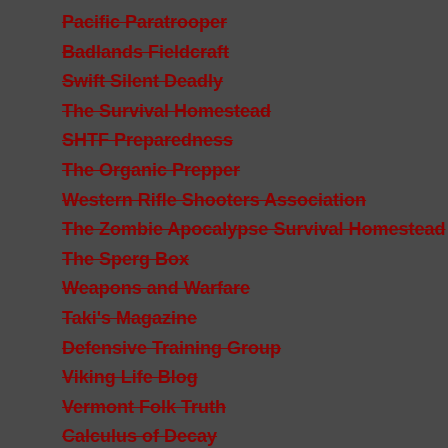Pacific Paratrooper
Badlands Fieldcraft
Swift Silent Deadly
The Survival Homestead
SHTF Preparedness
The Organic Prepper
Western Rifle Shooters Association
The Zombie Apocalypse Survival Homestead
The Sperg Box
Weapons and Warfare
Taki's Magazine
Defensive Training Group
Viking Life Blog
Vermont Folk Truth
Calculus of Decay